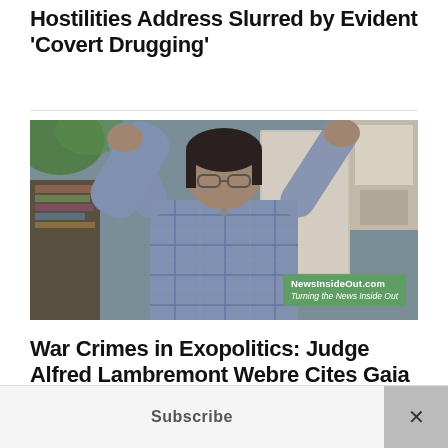Hostilities Address Slurred by Evident 'Covert Drugging'
[Figure (photo): A person with raised arms wearing a plaid shirt, appears to be speaking or gesturing, with a watermark 'NewsInsideOut.com — Turning the News Inside Out' in a green box at the bottom right.]
War Crimes in Exopolitics: Judge Alfred Lambremont Webre Cites Gaia TV Execs, Dr. Michael Salla, Corey Goode and Randy Cramer
Subscribe  ×